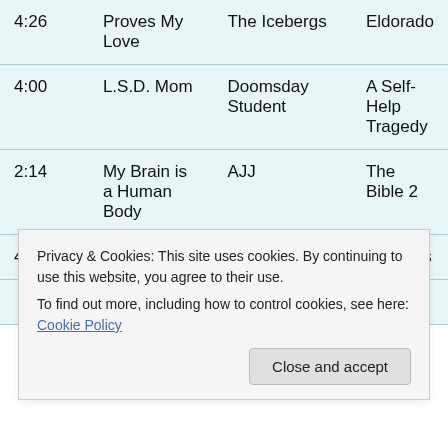| Time | Artist | Song | Album |
| --- | --- | --- | --- |
| 4:26 | Proves My Love | The Icebergs | Eldorado |
| 4:00 | L.S.D. Mom | Doomsday Student | A Self-Help Tragedy |
| 2:14 | My Brain is a Human Body | AJJ | The Bible 2 |
| 4:42 | R-Type | Anna | Varmints |
Privacy & Cookies: This site uses cookies. By continuing to use this website, you agree to their use.
To find out more, including how to control cookies, see here: Cookie Policy
Close and accept